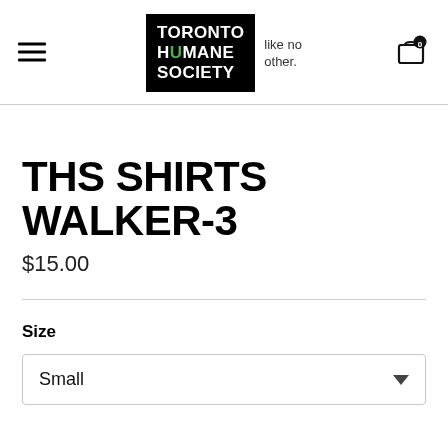Toronto Humane Society — like no other.
THS SHIRTS WALKER-3
$15.00
Size
Small